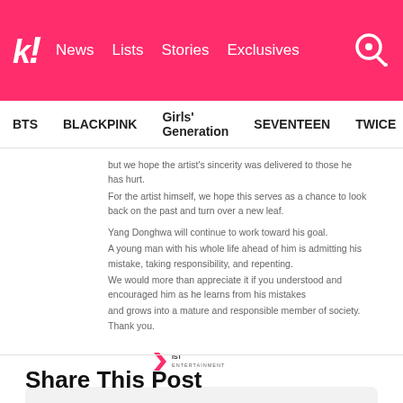k! News Lists Stories Exclusives
BTS BLACKPINK Girls' Generation SEVENTEEN TWICE
but we hope the artist's sincerity was delivered to those he has hurt.
For the artist himself, we hope this serves as a chance to look back on the past and turn over a new leaf.

Yang Donghwa will continue to work toward his goal.
A young man with his whole life ahead of him is admitting his mistake, taking responsibility, and repenting.
We would more than appreciate it if you understood and encouraged him as he learns from his mistakes and grows into a mature and responsible member of society. Thank you.
[Figure (logo): IST Entertainment logo]
| @THEORIGIN_AorB/Twitter
SOURCE
Share This Post